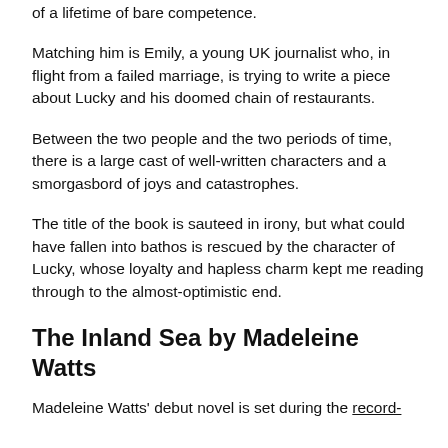of a lifetime of bare competence.
Matching him is Emily, a young UK journalist who, in flight from a failed marriage, is trying to write a piece about Lucky and his doomed chain of restaurants.
Between the two people and the two periods of time, there is a large cast of well-written characters and a smorgasbord of joys and catastrophes.
The title of the book is sauteed in irony, but what could have fallen into bathos is rescued by the character of Lucky, whose loyalty and hapless charm kept me reading through to the almost-optimistic end.
The Inland Sea by Madeleine Watts
Madeleine Watts' debut novel is set during the record-